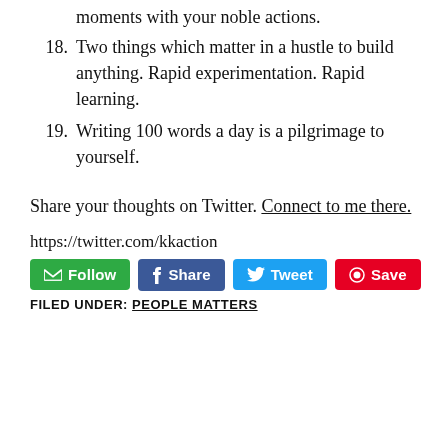moments with your noble actions.
18. Two things which matter in a hustle to build anything. Rapid experimentation. Rapid learning.
19. Writing 100 words a day is a pilgrimage to yourself.
Share your thoughts on Twitter. Connect to me there.
https://twitter.com/kkaction
FILED UNDER: PEOPLE MATTERS